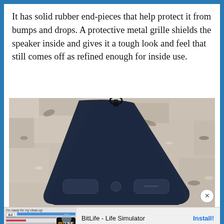It has solid rubber end-pieces that help protect it from bumps and drops. A protective metal grille shields the speaker inside and gives it a tough look and feel that still comes off as refined enough for inside use.
[Figure (photo): Overhead view of a dark navy blue portable Bluetooth speaker resting on a granite countertop surface. The speaker has a triangular shape with rounded corners and a carabiner clip attached at the top.]
[Figure (other): Advertisement banner for BitLife - Life Simulator app with an 'Install!' call-to-action link]